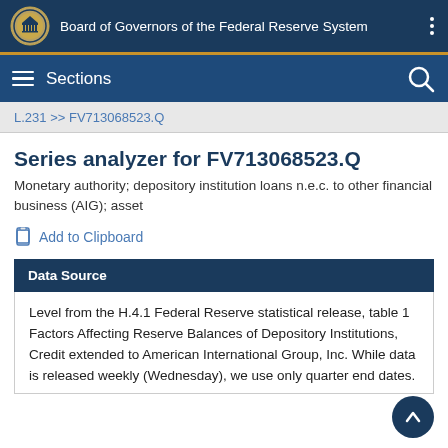Board of Governors of the Federal Reserve System
Sections
L.231 >> FV713068523.Q
Series analyzer for FV713068523.Q
Monetary authority; depository institution loans n.e.c. to other financial business (AIG); asset
Add to Clipboard
Data Source
Level from the H.4.1 Federal Reserve statistical release, table 1 Factors Affecting Reserve Balances of Depository Institutions, Credit extended to American International Group, Inc. While data is released weekly (Wednesday), we use only quarter end dates.